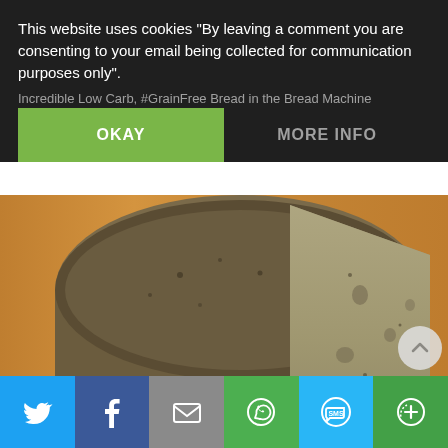This website uses cookies "By leaving a comment you are consenting to your email being collected for communication purposes only".
Incredible Low Carb, #GrainFree Bread in the Bread Machine
OKAY
MORE INFO
[Figure (photo): Sliced loaf of low carb grain-free bread on a wooden cutting board, showing dark-speckled crumb texture]
[Figure (infographic): Social sharing bar with Twitter, Facebook, Email, WhatsApp, SMS, and More buttons]